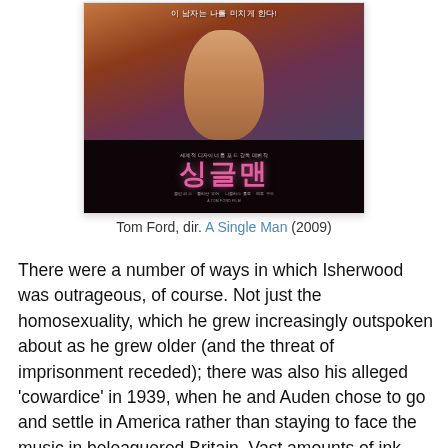[Figure (photo): Korean movie poster for 'A Single Man' (싱글맨), directed by Tom Ford (2009). Shows a young man's face in the upper portion with Korean text overlay, and large pink Korean title characters on a dark background below, with cast credits.]
Tom Ford, dir. A Single Man (2009)
There were a number of ways in which Isherwood was outrageous, of course. Not just the homosexuality, which he grew increasingly outspoken about as he grew older (and the threat of imprisonment receded); there was also his alleged 'cowardice' in 1939, when he and Auden chose to go and settle in America rather than staying to face the music in beleaguered Britain. Vast amounts of ink were spilt at the time condemning - and justifying - this decision. Auden subsequently explained it by saying that he did it precisely to